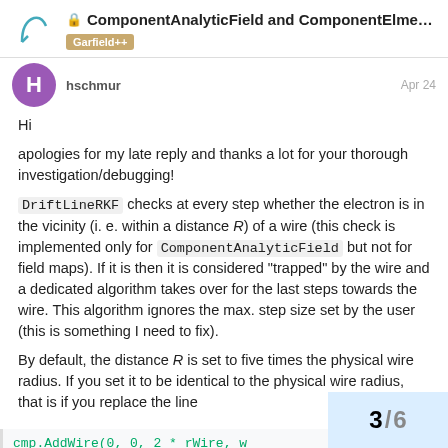ComponentAnalyticField and ComponentElme... | Garfield++
hschmur   Apr 24
Hi
apologies for my late reply and thanks a lot for your thorough investigation/debugging!

DriftLineRKF checks at every step whether the electron is in the vicinity (i. e. within a distance R) of a wire (this check is implemented only for ComponentAnalyticField but not for field maps). If it is then it is considered “trapped” by the wire and a dedicated algorithm takes over for the last steps towards the wire. This algorithm ignores the max. step size set by the user (this is something I need to fix).

By default, the distance R is set to five times the physical wire radius. If you set it to be identical to the physical wire radius, that is if you replace the line
cmp.AddWire(0, 0, 2 * rWire, w
3 / 6